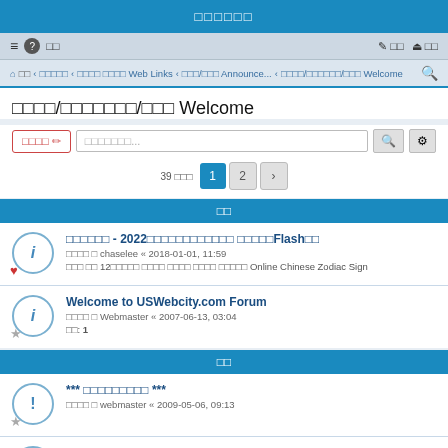□□□□□□
≡ ? □□  □ □□  ⏻ □□
⌂ □□ ‹ □□□□□ ‹ □□□□ □□□□ Web Links ‹ □□□/□□□ Announce... ‹ □□□□/□□□□□□/□□□ Welcome 🔍
□□□□/□□□□□□□/□□□ Welcome
□□□□ ✏  □□□□□□□...  🔍  ⚙
39 □□□  1  2  ›
□□
□□□□□□ - 2022□□□□□□□□□□□□ □□□□□Flash□□
□□□□ □ chaselee « 2018-01-01, 11:59
□□□ □□ 12□□□□□ □□□□ □□□□ □□□□ □□□□□ Online Chinese Zodiac Sign
Welcome to USWebcity.com Forum
□□□□ □ Webmaster « 2007-06-13, 03:04
□□: 1
□□
*** □□□□□□□□□ ***
□□□□ □ webmaster « 2009-05-06, 09:13
□□□□□□